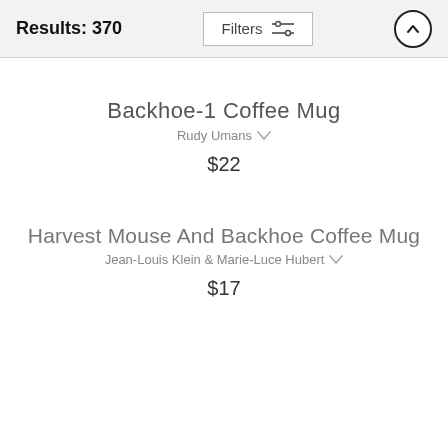Results: 370
Backhoe-1 Coffee Mug
Rudy Umans
$22
Harvest Mouse And Backhoe Coffee Mug
Jean-Louis Klein & Marie-Luce Hubert
$17